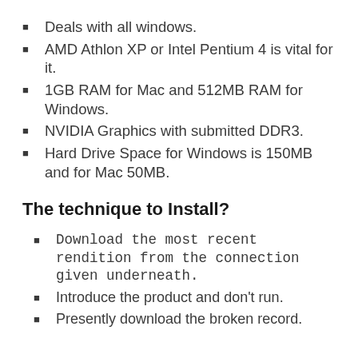Deals with all windows.
AMD Athlon XP or Intel Pentium 4 is vital for it.
1GB RAM for Mac and 512MB RAM for Windows.
NVIDIA Graphics with submitted DDR3.
Hard Drive Space for Windows is 150MB and for Mac 50MB.
The technique to Install?
Download the most recent rendition from the connection given underneath.
Introduce the product and don't run.
Presently download the broken record.